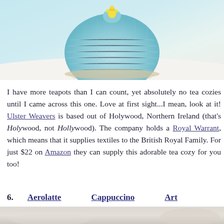[Figure (photo): A light blue knitted tea cozy with a flower on top, resting on a white surface]
I have more teapots than I can count, yet absolutely no tea cozies until I came across this one. Love at first sight...I mean, look at it! Ulster Weavers is based out of Holywood, Northern Ireland (that's Holywood, not Hollywood). The company holds a Royal Warrant, which means that it supplies textiles to the British Royal Family. For just $22 on Amazon they can supply this adorable tea cozy for you too!
6.   Aerolatte   Cappuccino   Art
[Figure (photo): Bottom partial photo, beige/cream tones, appears to be a beverage or kitchen item]